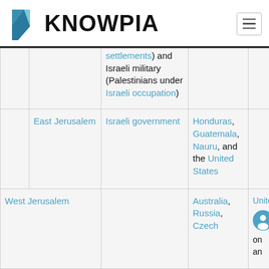KNOWPIA
|  |  | settlements) and Israeli military (Palestinians under Israeli occupation) |  |  |
|  | East Jerusalem | Israeli government | Honduras, Guatemala, Nauru, and the United States |  |
| West Jerusalem |  |  | Australia, Russia, Czech | United Kingdom an |